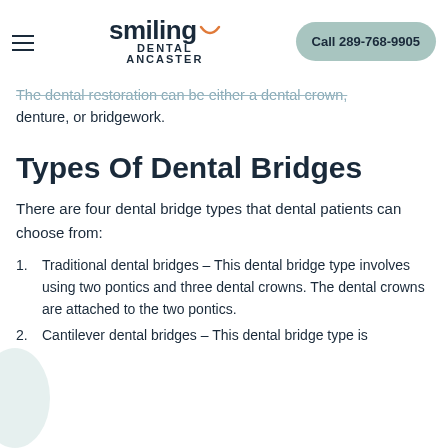Smiling Dental Ancaster | Call 289-768-9905
missing teeth. A dental implant consists of a titanium post which is surgically inserted into the jawbone. A dental restoration is attached to the top of the implant. The dental restoration can be either a dental crown, denture, or bridgework.
Types Of Dental Bridges
There are four dental bridge types that dental patients can choose from:
Traditional dental bridges – This dental bridge type involves using two pontics and three dental crowns. The dental crowns are attached to the two pontics.
Cantilever dental bridges – This dental bridge type is